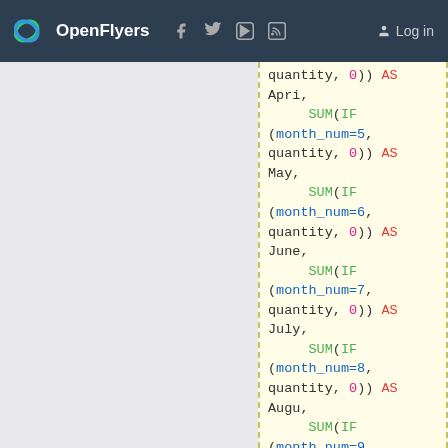OpenFlyers  Log in
[Figure (screenshot): Code editor panel showing SQL code with SUM(IF()) expressions for months April through October, syntax highlighted in green, red, pink, and dark colors on a light yellow background.]